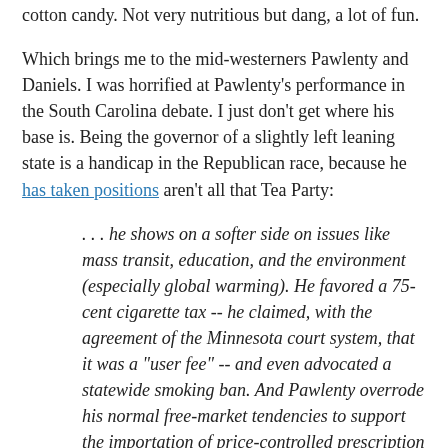cotton candy. Not very nutritious but dang, a lot of fun.
Which brings me to the mid-westerners Pawlenty and Daniels. I was horrified at Pawlenty's performance in the South Carolina debate. I just don't get where his base is. Being the governor of a slightly left leaning state is a handicap in the Republican race, because he has taken positions aren't all that Tea Party:
. . . he shows on a softer side on issues like mass transit, education, and the environment (especially global warming). He favored a 75-cent cigarette tax -- he claimed, with the agreement of the Minnesota court system, that it was a "user fee" -- and even advocated a statewide smoking ban. And Pawlenty overrode his normal free-market tendencies to support the importation of price-controlled prescription drugs from Canada.
(As an aside, why is supporting free trade in drugs from Canada not free market? I am all in favor, because it would cause the artificial price controls on drugs in Canada to collapse, ending in effect, a U.S. subsidy of their market.)